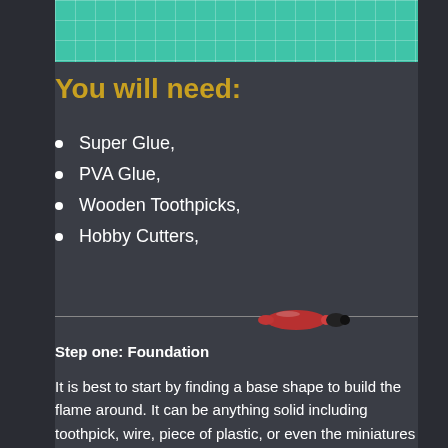[Figure (photo): Top portion of a cutting mat with green grid lines visible]
You will need:
Super Glue,
PVA Glue,
Wooden Toothpicks,
Hobby Cutters,
[Figure (photo): A red hobby cutter or marker tool with a black tip, sitting on a horizontal line]
Step one: Foundation
It is best to start by finding a base shape to build the flame around. It can be anything solid including toothpick, wire, piece of plastic, or even the miniatures themselves. In this case, with an idea of flames gushing out of a flamethrower, I cut a small piece of a toothpick.